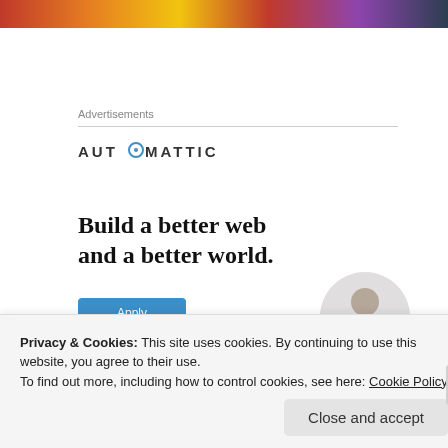[Figure (photo): Colorful banner image strip at top of page with warm reds, oranges, yellows and dark tones]
Advertisements
[Figure (logo): Automattic logo with circular icon replacing the O in AUTOMATTIC]
Build a better web and a better world.
[Figure (photo): Apply button (blue) and circular photo of a man]
Privacy & Cookies: This site uses cookies. By continuing to use this website, you agree to their use.
To find out more, including how to control cookies, see here: Cookie Policy
Close and accept